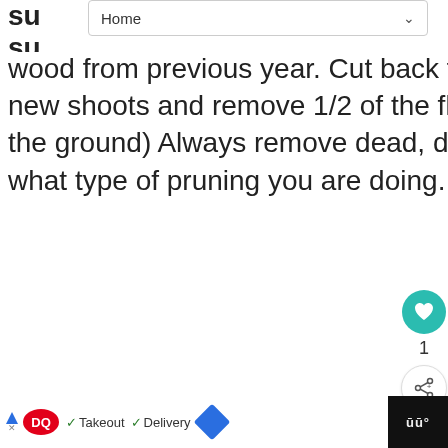[Figure (screenshot): Navigation bar with 'Home' label and chevron dropdown arrow]
su
su flowering after pruning (flowers appear on wood from previous year. Cut back flowered stems by 1/2, to strong growing new shoots and remove 1/2 of the flowered stems a couple of inches from the ground) Always remove dead, damaged or diseased wood first, no matter what type of pruning you are doing.
[Figure (infographic): Teal circular like/heart button, count of 1, and share button]
[Figure (infographic): What's Next panel with thumbnail image and text 'Growing Vegetables i...']
[Figure (infographic): Advertisement bar at bottom: Dairy Queen ad with Takeout and Delivery checkmarks, navigation icon, and WW logo]